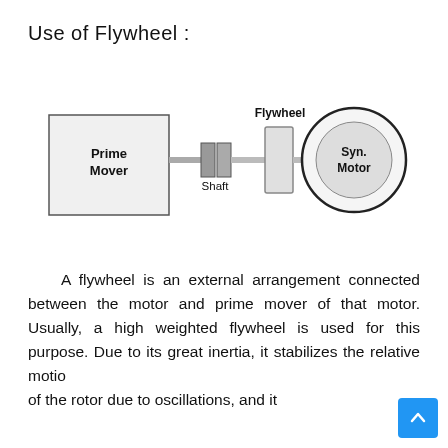Use of Flywheel :
[Figure (engineering-diagram): Diagram showing a Prime Mover box connected via a Shaft to a Flywheel disc, which is connected to a Syn. Motor (shown as a circle inside a larger circle). Labels: Flywheel above the disc, Shaft below the shaft coupling, Syn. Motor inside the motor circle, Prime Mover inside the left box.]
A flywheel is an external arrangement connected between the motor and prime mover of that motor. Usually, a high weighted flywheel is used for this purpose. Due to its great inertia, it stabilizes the relative motion of the rotor due to oscillations, and it